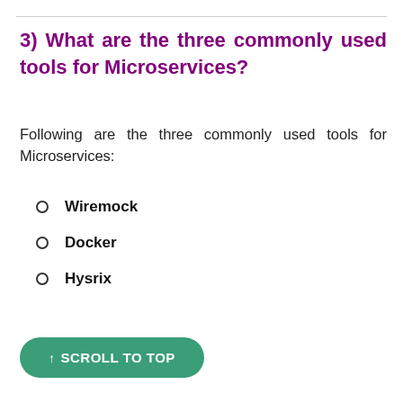3) What are the three commonly used tools for Microservices?
Following are the three commonly used tools for Microservices:
Wiremock
Docker
Hysrix
↑ SCROLL TO TOP